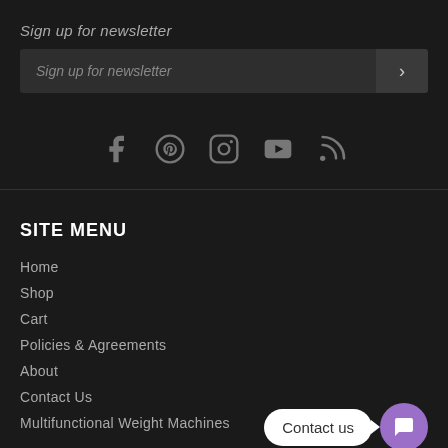Sign up for newsletter
Sign up for newsletter
[Figure (infographic): Social media icons: Facebook, Pinterest, Instagram, YouTube, RSS feed]
SITE MENU
Home
Shop
Cart
Policies & Agreements
About
Contact Us
Multifunctional Weight Machines
Contact us